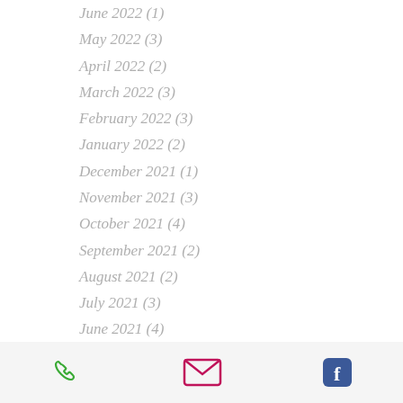June 2022 (1)
May 2022 (3)
April 2022 (2)
March 2022 (3)
February 2022 (3)
January 2022 (2)
December 2021 (1)
November 2021 (3)
October 2021 (4)
September 2021 (2)
August 2021 (2)
July 2021 (3)
June 2021 (4)
May 2021 (5)
April 2021 (4)
March 2021 (5)
February 2021 (1)
January 2021 (3)
December 2020 (2)
November 2020 (2)
[Figure (other): Footer bar with phone icon (green), email icon (magenta), and Facebook icon (blue)]